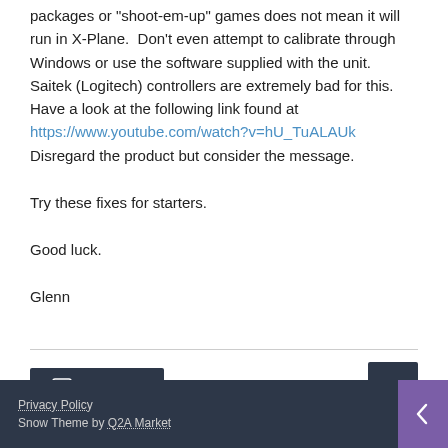packages or "shoot-em-up" games does not mean it will run in X-Plane.  Don't even attempt to calibrate through Windows or use the software supplied with the unit.  Saitek (Logitech) controllers are extremely bad for this.  Have a look at the following link found at https://www.youtube.com/watch?v=hU_TuALAUk Disregard the product but consider the message.
Try these fixes for starters.
Good luck.
Glenn
Privacy Policy
Snow Theme by Q2A Market